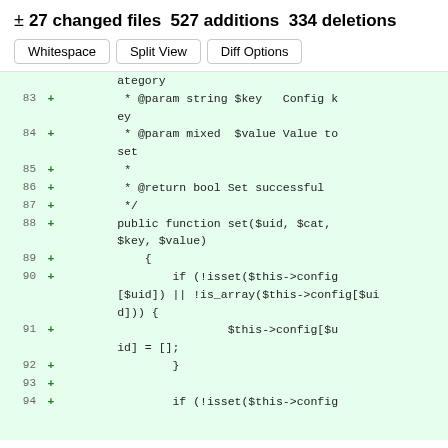± 27 changed files  527 additions  334 deletions
Whitespace   Split View   Diff Options
[Figure (screenshot): Code diff view showing lines 83-94 of a PHP file with added lines (+) showing PHPDoc comments and a public function set($uid, $cat, $key, $value) with conditional logic using isset and is_array on $this->config[$uid]]